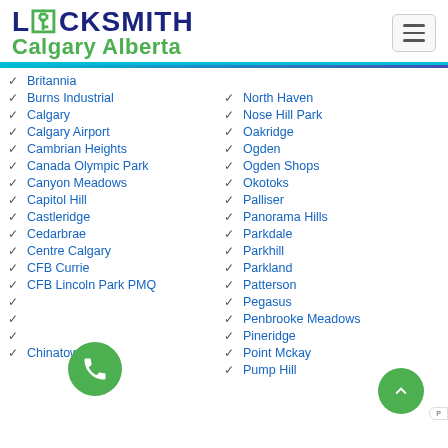LOCKSMITH Calgary Alberta
Britannia
Burns Industrial
Calgary
Calgary Airport
Cambrian Heights
Canada Olympic Park
Canyon Meadows
Capitol Hill
Castleridge
Cedarbrae
Centre Calgary
CFB Currie
CFB Lincoln Park PMQ
Chestermere
Chinatown
North Haven
Nose Hill Park
Oakridge
Ogden
Ogden Shops
Okotoks
Palliser
Panorama Hills
Parkdale
Parkhill
Parkland
Patterson
Pegasus
Penbrooke Meadows
Pineridge
Point Mckay
Pump Hill